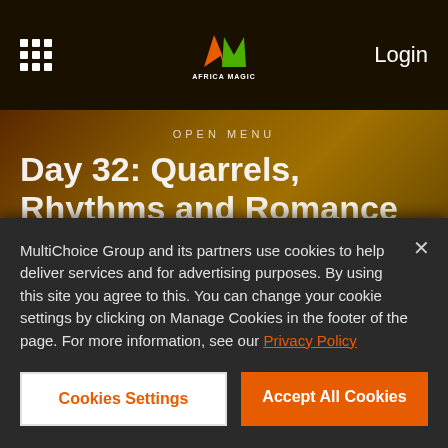[Figure (logo): Africa Magic logo - AM letters in orange and green with AFRICA MAGIC text below, on dark background navigation bar with grid icon on left and Login text on right]
OPEN MENU
Day 32: Quarrels, Rhythms and Romance
News   01 March 2018
There was more Double Wahala than usual in
MultiChoice Group and its partners use cookies to help deliver services and for advertising purposes. By using this site you agree to this. You can change your cookie settings by clicking on Manage Cookies in the footer of the page. For more information, see our Privacy Policy
Cookies Settings
Accept All Cookies